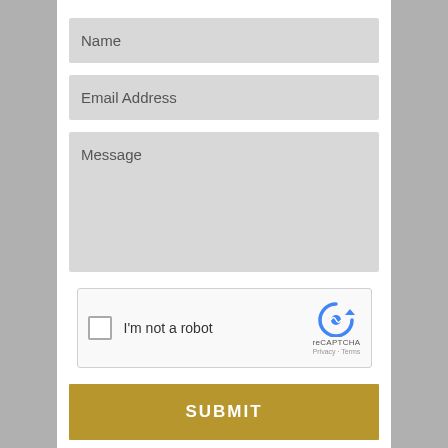Name
Email Address
Message
[Figure (other): reCAPTCHA widget with checkbox labeled 'I'm not a robot', Google reCAPTCHA logo, Privacy and Terms links]
SUBMIT